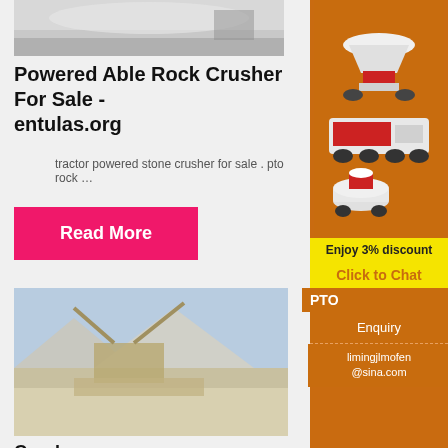[Figure (photo): Overhead view of crushed rock/stone material, light gray colored]
Powered Able Rock Crusher For Sale - entulas.org
tractor powered stone crusher for sale . pto rock …
Read More
[Figure (photo): Photo of a large rock crushing plant with conveyor belts and machinery in an open quarry setting]
Crushers
[Figure (photo): Advertisement sidebar showing multiple mining/crushing machines (cone crusher, mobile crusher, grinding mill) on orange background]
Enjoy 3% discount
Click to Chat
PTO
Enquiry
limingjlmofen@sina.com